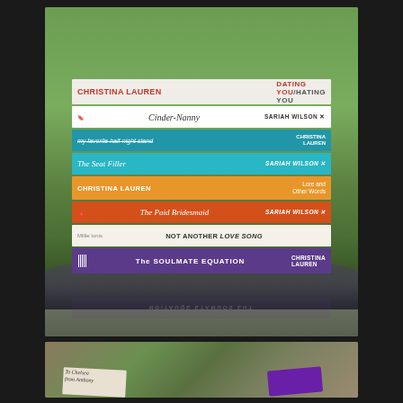[Figure (photo): Stack of paperback romance novels on a glass table with green garden foliage in the background. Books visible from top to bottom: 'Dating You/Hating You' by Christina Lauren (white cover), 'Cinder-Nanny' by Sariah Wilson (white cover), 'My Favorite Half-Night Stand' by Christina Lauren (blue cover), 'The Seat Filler' by Sariah Wilson (cyan/teal cover), 'Lore and Other Words' by Christina Lauren (orange cover), 'The Paid Bridesmaid' by Sariah Wilson (red-orange cover), 'Not Another Love Song' by Millie Ionis (light cover), 'The Soulmate Equation' by Christina Lauren (purple cover). Books are stacked horizontally with spines visible, reflected on a glass table surface.]
[Figure (photo): Outdoor scene with a wooden bench or chair near a tree trunk with greenery. A purple book and a white envelope addressed to 'Chelsea' are visible in the lower portion of the image.]